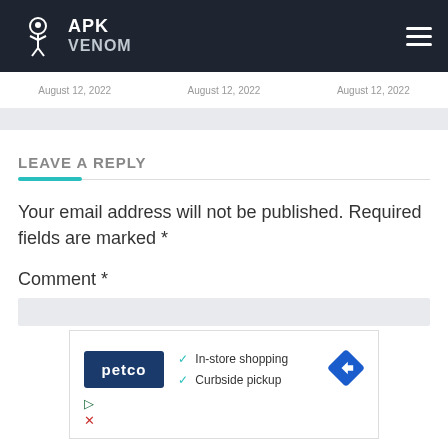APK VENOM
August 12, 2022   August 12, 2022   August 12, 2022
LEAVE A REPLY
Your email address will not be published. Required fields are marked *
Comment *
[Figure (screenshot): Advertisement for Petco showing logo, in-store shopping and curbside pickup checkmarks, and a blue navigation arrow icon]